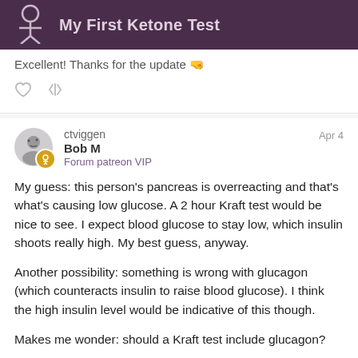My First Ketone Test
Excellent! Thanks for the update 👍
ctviggen  Bob M  Forum patreon VIP  Apr 4
My guess: this person's pancreas is overreacting and that's what's causing low glucose. A 2 hour Kraft test would be nice to see. I expect blood glucose to stay low, which insulin shoots really high. My best guess, anyway.

Another possibility: something is wrong with glucagon (which counteracts insulin to raise blood glucose). I think the high insulin level would be indicative of this though.

Makes me wonder: should a Kraft test include glucagon?
26 / 33